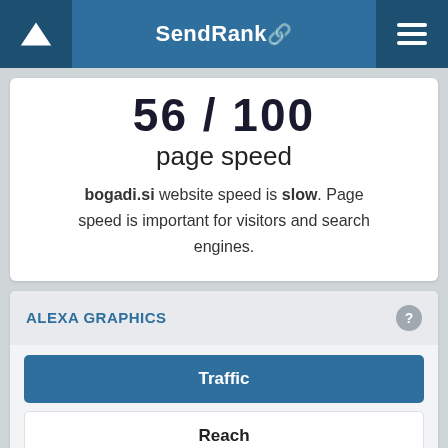SendRank
56 / 100
page speed
bogadi.si website speed is slow. Page speed is important for visitors and search engines.
ALEXA GRAPHICS
Traffic
Reach
Pageviews
Pageviews / User